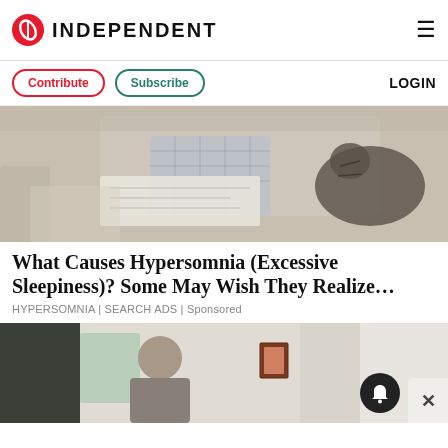INDEPENDENT
Contribute | Subscribe | LOGIN
[Figure (photo): Person sitting on a couch reading newspaper with a cat beside them]
What Causes Hypersomnia (Excessive Sleepiness)? Some May Wish They Realize…
HYPERSOMNIA | SEARCH ADS | Sponsored
[Figure (photo): Person standing near a door in a hallway]